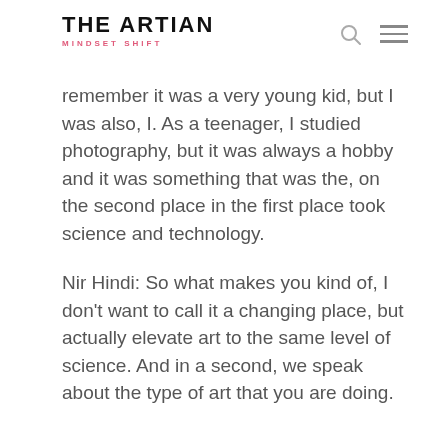THE ARTIAN MINDSET SHIFT
remember it was a very young kid, but I was also, I. As a teenager, I studied photography, but it was always a hobby and it was something that was the, on the second place in the first place took science and technology.
Nir Hindi: So what makes you kind of, I don't want to call it a changing place, but actually elevate art to the same level of science. And in a second, we speak about the type of art that you are doing.